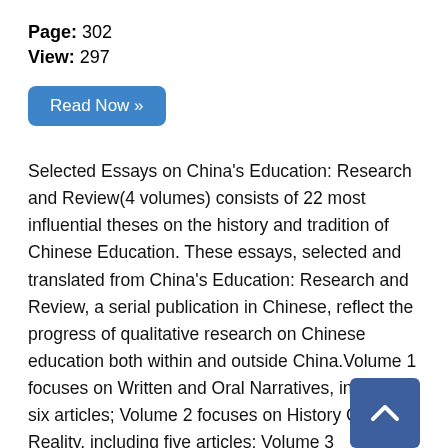Page: 302
View: 297
Read Now »
Selected Essays on China's Education: Research and Review(4 volumes) consists of 22 most influential theses on the history and tradition of Chinese Education. These essays, selected and translated from China's Education: Research and Review, a serial publication in Chinese, reflect the progress of qualitative research on Chinese education both within and outside China.Volume 1 focuses on Written and Oral Narratives, including six articles; Volume 2 focuses on History Current Reality, including five articles; Volume 3